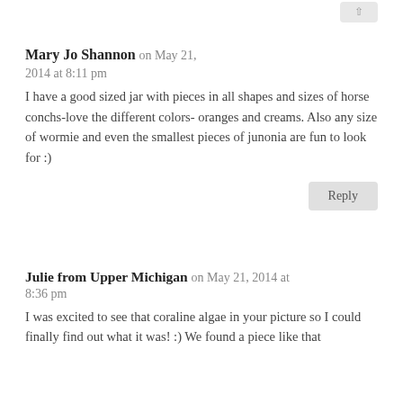Mary Jo Shannon on May 21, 2014 at 8:11 pm
I have a good sized jar with pieces in all shapes and sizes of horse conchs-love the different colors- oranges and creams. Also any size of wormie and even the smallest pieces of junonia are fun to look for :)
Reply
Julie from Upper Michigan on May 21, 2014 at 8:36 pm
I was excited to see that coraline algae in your picture so I could finally find out what it was! :) We found a piece like that